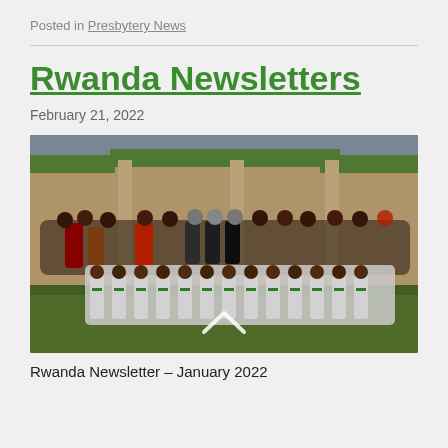Posted in Presbytery News
Rwanda Newsletters
February 21, 2022
[Figure (photo): Large group photo outdoors in front of a building with green roof. Children in front rows wear white robes with green sashes. Adults stand behind. A small chevron/arrow watermark appears at the bottom center of the image.]
Rwanda Newsletter – January 2022